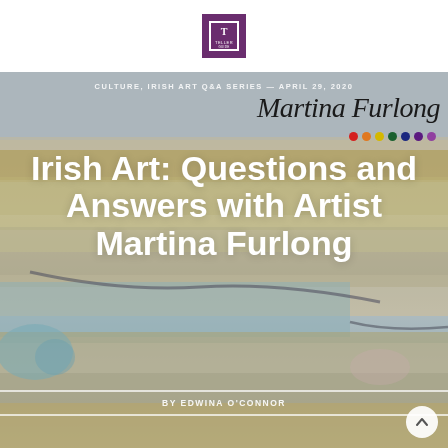[Figure (logo): Purple square logo box with white T/frame icon inside, representing a publication or website brand mark]
CULTURE, IRISH ART Q&A SERIES — APRIL 29, 2020
[Figure (illustration): Martina Furlong brand header with name in large serif font and a row of colored dots (red, orange, yellow, dark green, dark blue, purple, light purple)]
Irish Art: Questions and Answers with Artist Martina Furlong
[Figure (photo): Abstract landscape painting by Martina Furlong in muted yellows, blues, greens and grays serving as background for the article title]
by EDWINA O'CONNOR